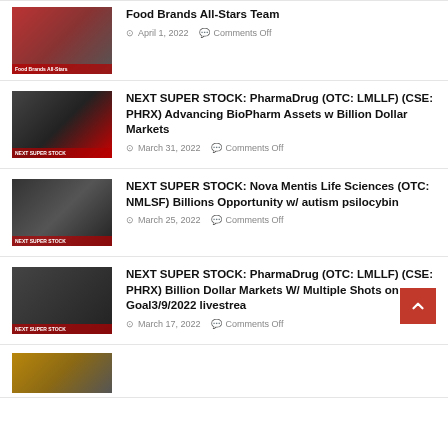Food Brands All-Stars Team
April 1, 2022 — Comments Off
NEXT SUPER STOCK: PharmaDrug (OTC: LMLLF) (CSE: PHRX) Advancing BioPharm Assets w Billion Dollar Markets
March 31, 2022 — Comments Off
NEXT SUPER STOCK: Nova Mentis Life Sciences (OTC: NMLSF) Billions Opportunity w/ autism psilocybin
March 25, 2022 — Comments Off
NEXT SUPER STOCK: PharmaDrug (OTC: LMLLF) (CSE: PHRX) Billion Dollar Markets W/ Multiple Shots on Goal3/9/2022 livestrea
March 17, 2022 — Comments Off